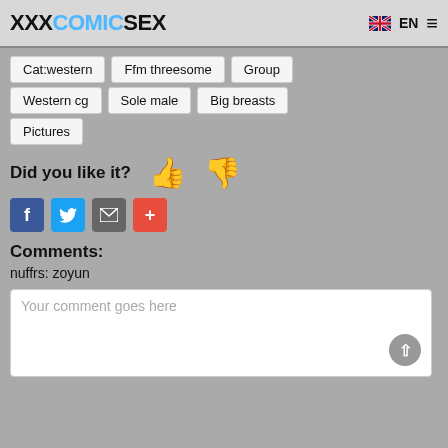XXXCOMICSEX  EN
Cat:western
Ffm threesome
Group
Western cg
Sole male
Big breasts
Pictures
Did you like it?
Comments:
nuffrs: zoyun
Your comment goes here